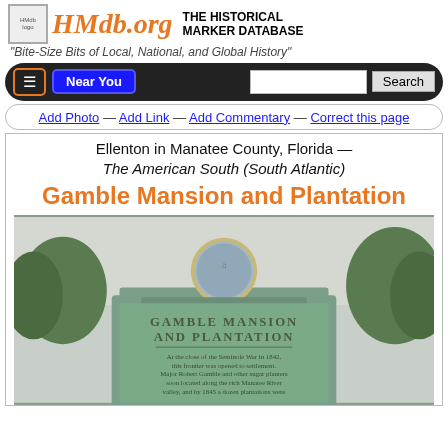HMdb.org THE HISTORICAL MARKER DATABASE
"Bite-Size Bits of Local, National, and Global History"
≡ Near You [Search]
Add Photo — Add Link — Add Commentary — Correct this page
Ellenton in Manatee County, Florida — The American South (South Atlantic)
Gamble Mansion and Plantation
[Figure (photo): Photo of the Gamble Mansion and Plantation historical marker, a green bronze plaque mounted on an ornate green metal post with a decorative circular medallion at the top. The marker text reads: GAMBLE MANSION AND PLANTATION. At the close of the Seminole War in 1842, this frontier was opened to settlement. Major Robert Gamble and other sugar planters soon located along the rich Manatee River valley, and by 1845 a dozen plantations were...]